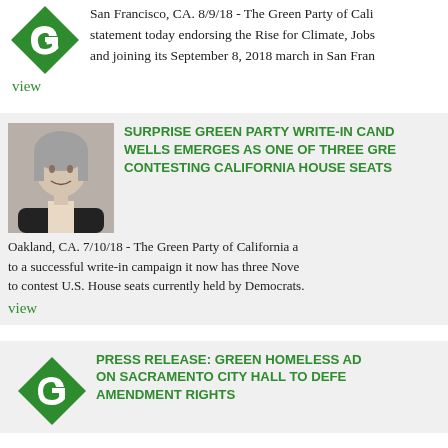[Figure (logo): Green Party of California diamond logo with stylized G]
San Francisco, CA. 8/9/18 - The Green Party of California issued a statement today endorsing the Rise for Climate, Jobs and joining its September 8, 2018 march in San Fran
view
[Figure (photo): Portrait photo of a woman with gray hair and a smile, wearing a dark jacket]
SURPRISE GREEN PARTY WRITE-IN CANDIDATE WELLS EMERGES AS ONE OF THREE GREENS CONTESTING CALIFORNIA HOUSE SEATS
Oakland, CA. 7/10/18 - The Green Party of California announced that due to a successful write-in campaign it now has three November candidates to contest U.S. House seats currently held by Democrats.
view
[Figure (logo): Green Party of California diamond logo with stylized G]
PRESS RELEASE: GREEN HOMELESS ADVOCATES MARCH ON SACRAMENTO CITY HALL TO DEFEND FIRST AMENDMENT RIGHTS